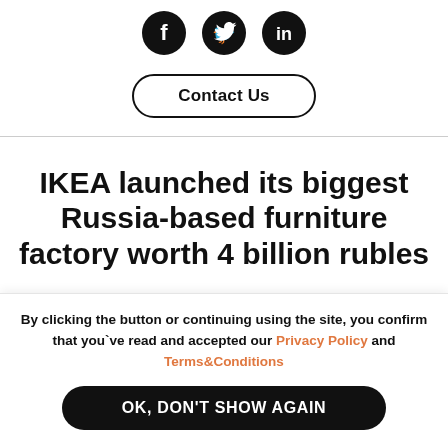[Figure (illustration): Three social media icons: Facebook (f), Twitter (bird), LinkedIn (in), displayed as circular black icons]
Contact Us
IKEA launched its biggest Russia-based furniture factory worth 4 billion rubles
By clicking the button or continuing using the site, you confirm that you`ve read and accepted our Privacy Policy and Terms&Conditions
OK, DON'T SHOW AGAIN